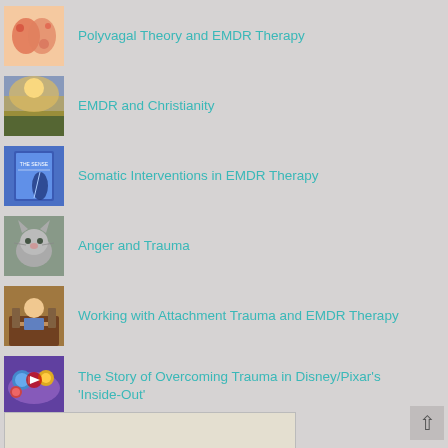Polyvagal Theory and EMDR Therapy
EMDR and Christianity
Somatic Interventions in EMDR Therapy
Anger and Trauma
Working with Attachment Trauma and EMDR Therapy
The Story of Overcoming Trauma in Disney/Pixar's 'Inside-Out'
Read "Remote Together"